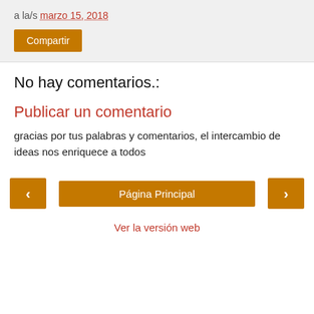a la/s marzo 15, 2018
Compartir
No hay comentarios.:
Publicar un comentario
gracias por tus palabras y comentarios, el intercambio de ideas nos enriquece a todos
‹
Página Principal
›
Ver la versión web